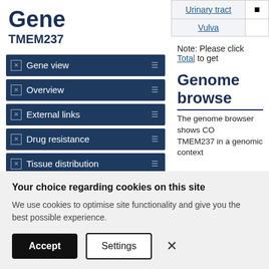Gene TMEM237
Gene view
Overview
External links
Drug resistance
Tissue distribution
Genome browser
Mutation distribution
|  |  |
| --- | --- |
| Urinary tract | ■ |
| Vulva |  |
Note: Please click Total to get
Genome browse
The genome browser shows CO TMEM237 in a genomic context
Your choice regarding cookies on this site
We use cookies to optimise site functionality and give you the best possible experience.